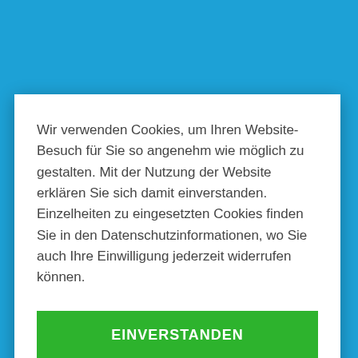Wir verwenden Cookies, um Ihren Website-Besuch für Sie so angenehm wie möglich zu gestalten. Mit der Nutzung der Website erklären Sie sich damit einverstanden. Einzelheiten zu eingesetzten Cookies finden Sie in den Datenschutzinformationen, wo Sie auch Ihre Einwilligung jederzeit widerrufen können.
EINVERSTANDEN
einverstanden bleiben